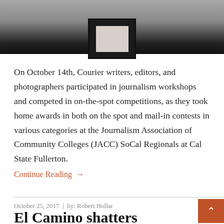[Figure (photo): Partial photo of a framed picture on a gray surface, dark frame visible at bottom of image]
On October 14th, Courier writers, editors, and photographers participated in journalism workshops and competed in on-the-spot competitions, as they took home awards in both on the spot and mail-in contests in various categories at the Journalism Association of Community Colleges (JACC) SoCal Regionals at Cal State Fullerton.
Continue Reading →
October 25, 2017  |  by: Robert Hollar
El Camino shatters volleyball's